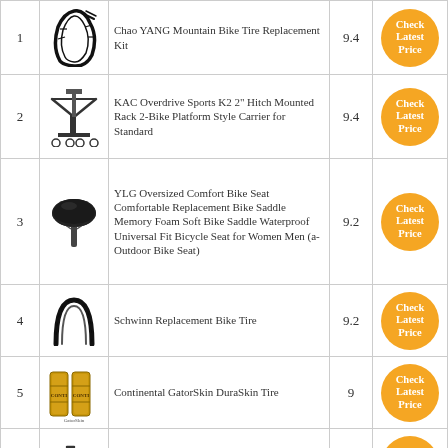| # | Image | Product Name | Score | Button |
| --- | --- | --- | --- | --- |
| 1 | [tire image] | Chao YANG Mountain Bike Tire Replacement Kit | 9.4 | Check Latest Price |
| 2 | [rack image] | KAC Overdrive Sports K2 2" Hitch Mounted Rack 2-Bike Platform Style Carrier for Standard | 9.4 | Check Latest Price |
| 3 | [seat image] | YLG Oversized Comfort Bike Seat Comfortable Replacement Bike Saddle Memory Foam Soft Bike Saddle Waterproof Universal Fit Bicycle Seat for Women Men (a-Outdoor Bike Seat) | 9.2 | Check Latest Price |
| 4 | [tire image] | Schwinn Replacement Bike Tire | 9.2 | Check Latest Price |
| 5 | [tire image] | Continental GatorSkin DuraSkin Tire | 9 | Check Latest Price |
| 6 | [bike image] | Mongoose Malus Adult Fat Tire Mountain Bike | 8.8 | Check Latest Price |